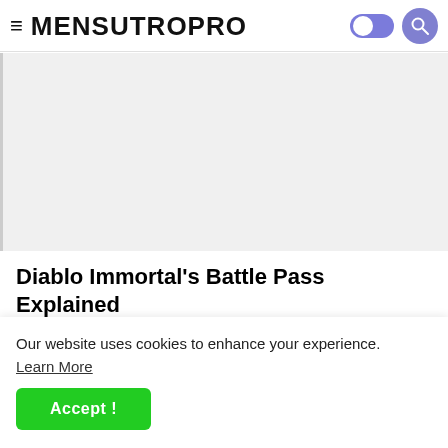≡ MENSUTROPRO [toggle] [search]
[Figure (other): Gray placeholder image area for article hero image]
Diablo Immortal's Battle Pass Explained
If you are looking for a useful guide about (Diablo...
Our website uses cookies to enhance your experience. Learn More
Accept !